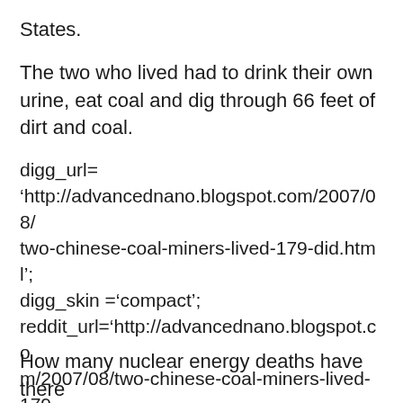States.
The two who lived had to drink their own urine, eat coal and dig through 66 feet of dirt and coal.
digg_url=‘http://advancednano.blogspot.com/2007/08/two-chinese-coal-miners-lived-179-did.html’; digg_skin =‘compact’; reddit_url=‘http://advancednano.blogspot.com/2007/08/two-chinese-coal-miners-lived-179-did.html’reddit_url=advancednano.blogspot.com/2007/08/two-chinese-coal-miners-lived-179-did.html
How many nuclear energy deaths have there